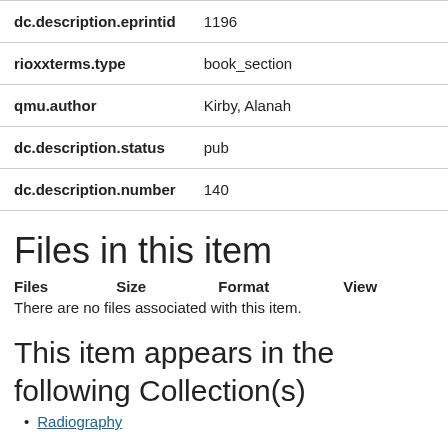| Field | Value |
| --- | --- |
| dc.description.eprintid | 1196 |
| rioxxterms.type | book_section |
| qmu.author | Kirby, Alanah |
| dc.description.status | pub |
| dc.description.number | 140 |
Files in this item
| Files | Size | Format | View |
| --- | --- | --- | --- |
| There are no files associated with this item. |  |  |  |
This item appears in the following Collection(s)
Radiography